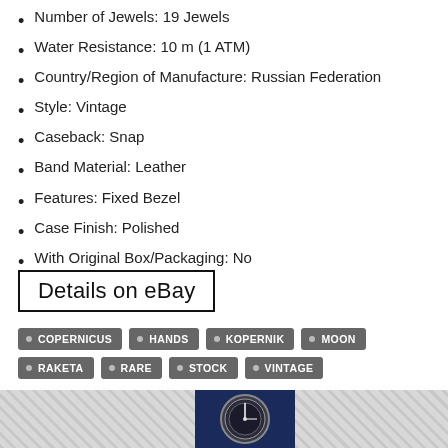Number of Jewels: 19 Jewels
Water Resistance: 10 m (1 ATM)
Country/Region of Manufacture: Russian Federation
Style: Vintage
Caseback: Snap
Band Material: Leather
Features: Fixed Bezel
Case Finish: Polished
With Original Box/Packaging: No
Details on eBay
COPERNICUS
HANDS
KOPERNIK
MOON
RAKETA
RARE
STOCK
VINTAGE
[Figure (photo): Watch image at bottom of page with diagonal hatch background]